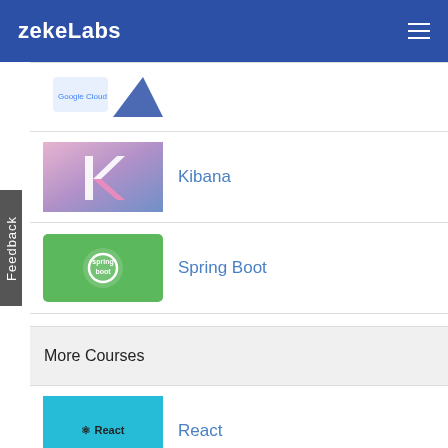zekeLabs
Google Cloud Platform
Kibana
Spring Boot
More Courses
React
Advanced Jenkins
Angular 7
Google Cloud Platform